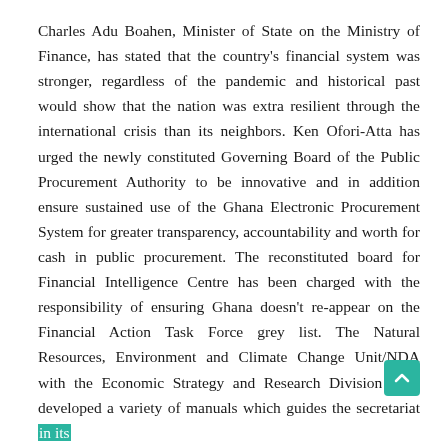Charles Adu Boahen, Minister of State on the Ministry of Finance, has stated that the country's financial system was stronger, regardless of the pandemic and historical past would show that the nation was extra resilient through the international crisis than its neighbors. Ken Ofori-Atta has urged the newly constituted Governing Board of the Public Procurement Authority to be innovative and in addition ensure sustained use of the Ghana Electronic Procurement System for greater transparency, accountability and worth for cash in public procurement. The reconstituted board for Financial Intelligence Centre has been charged with the responsibility of ensuring Ghana doesn't re-appear on the Financial Action Task Force grey list. The Natural Resources, Environment and Climate Change Unit/NDA with the Economic Strategy and Research Division have developed a variety of manuals which guides the secretariat in its operations and in addition present direction for submission climate change proposals to the Green Climate Fund for